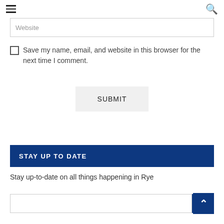Navigation header with hamburger menu and search icon
Website
Save my name, email, and website in this browser for the next time I comment.
SUBMIT
STAY UP TO DATE
Stay up-to-date on all things happening in Rye